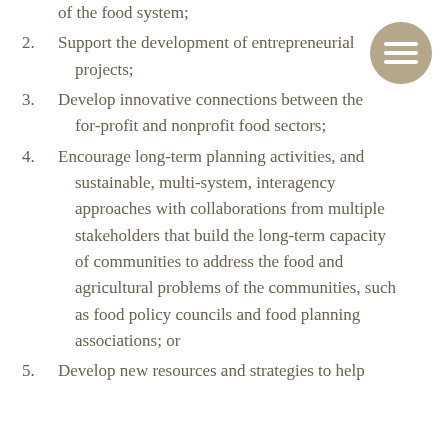of the food system;
2. Support the development of entrepreneurial projects;
3. Develop innovative connections between the for-profit and nonprofit food sectors;
4. Encourage long-term planning activities, and sustainable, multi-system, interagency approaches with collaborations from multiple stakeholders that build the long-term capacity of communities to address the food and agricultural problems of the communities, such as food policy councils and food planning associations; or
5. Develop new resources and strategies to help